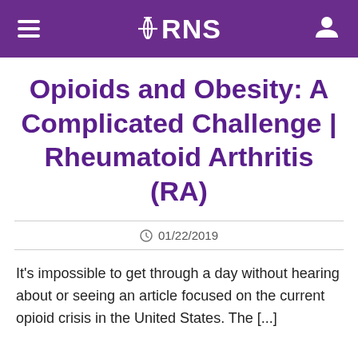RNS
Opioids and Obesity: A Complicated Challenge | Rheumatoid Arthritis (RA)
01/22/2019
It's impossible to get through a day without hearing about or seeing an article focused on the current opioid crisis in the United States. The [...]